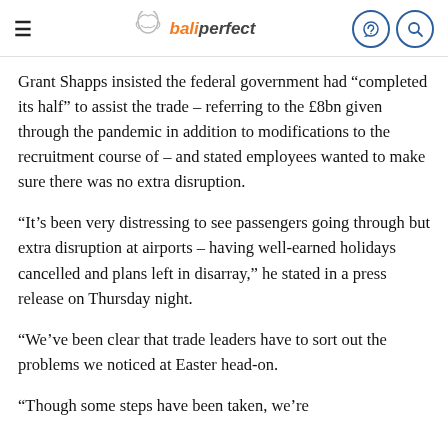bali perfect (logo with hamburger menu and icons)
Grant Shapps insisted the federal government had “completed its half” to assist the trade – referring to the £8bn given through the pandemic in addition to modifications to the recruitment course of – and stated employees wanted to make sure there was no extra disruption.
“It’s been very distressing to see passengers going through but extra disruption at airports – having well-earned holidays cancelled and plans left in disarray,” he stated in a press release on Thursday night.
“We’ve been clear that trade leaders have to sort out the problems we noticed at Easter head-on.
“Though some steps have been taken, we’re